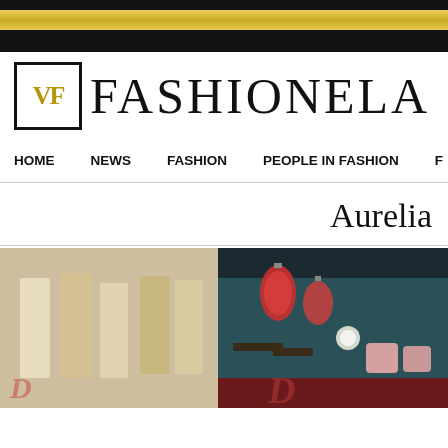FASHIONELA - header banner with gold stripe
[Figure (logo): VF Fashionela logo with gold VF monogram in bordered box followed by FASHIONELA text]
HOME  NEWS  FASHION  PEOPLE IN FASHION  F
Aurelia
[Figure (photo): Three images side by side: left shows fashion dresses on mannequins in a shop, center and right show restaurant/lounge interior with red lanterns and pink chairs with teal curtains]